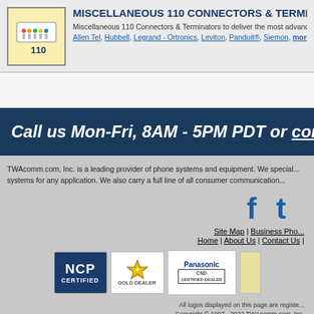[Figure (illustration): 110 connector product icon - white connector with colored wires on yellow background with '110' label]
MISCELLANEOUS 110 CONNECTORS & TERMINATORS
Miscellaneous 110 Connectors & Terminators to deliver the most advanced...
Allen Tel, Hubbell, Legrand - Ortronics, Leviton, Panduit®, Siemon, more...
Call us Mon-Fri, 8AM - 5PM PDT or contact us h...
TWAcomm.com, Inc. is a leading provider of phone systems and equipment. We special... systems for any application. We also carry a full line of all consumer communication...
[Figure (logo): Social media icons - Facebook and Twitter (partially visible)]
Site Map | Business Pho... Home | About Us | Contact Us |
[Figure (logo): NCP Certified badge]
[Figure (logo): Gold Dealer badge]
[Figure (logo): Panasonic CSD Certified Dealer badge]
[Figure (logo): Partial badge (cut off)]
All logos displayed on this page are registe... Copyright © 1997 - 2022 TWAcomm.com, Inc.